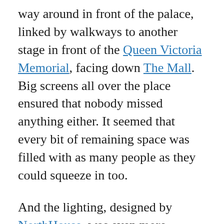way around in front of the palace, linked by walkways to another stage in front of the Queen Victoria Memorial, facing down The Mall. Big screens all over the place ensured that nobody missed anything either. It seemed that every bit of remaining space was filled with as many people as they could squeeze in too.
And the lighting, designed by NorthHouse, was even more impressive. Not just on and around the stages, which worked nicely, but especially on the palace itself. As darkness drew in, the entire front of Buckingham Palace was constantly covered in projected imagery, from simple colours and patterns to complex animations, photos and video footage. The